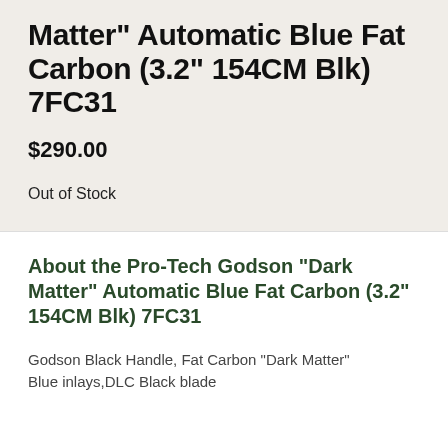Matter” Automatic Blue Fat Carbon (3.2” 154CM Blk) 7FC31
$290.00
Out of Stock
About the Pro-Tech Godson “Dark Matter” Automatic Blue Fat Carbon (3.2" 154CM Blk) 7FC31
Godson Black Handle, Fat Carbon “Dark Matter” Blue inlays,DLC Black blade